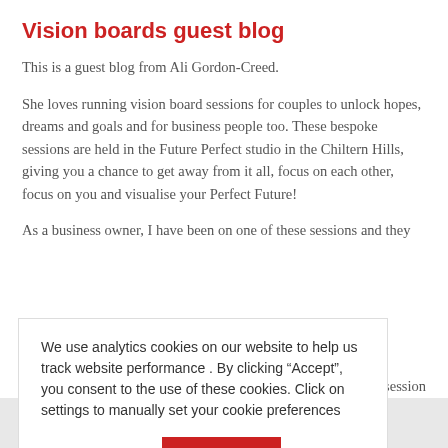Vision boards guest blog
This is a guest blog from Ali Gordon-Creed.
She loves running vision board sessions for couples to unlock hopes, dreams and goals and for business people too. These bespoke sessions are held in the Future Perfect studio in the Chiltern Hills, giving you a chance to get away from it all, focus on each other, focus on you and visualise your Perfect Future!
As a business owner, I have been on one of these sessions and they ... book a session
We use analytics cookies on our website to help us track website performance . By clicking “Accept”, you consent to the use of these cookies. Click on settings to manually set your cookie preferences
Cookie settings
ACCEPT